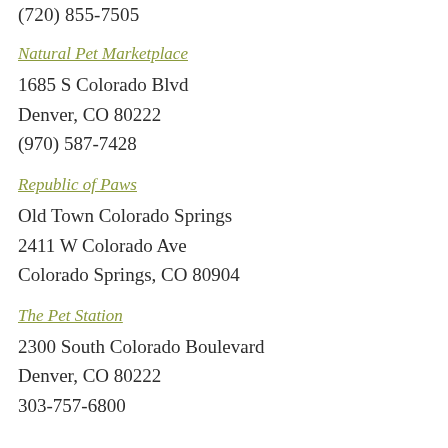(720) 855-7505
Natural Pet Marketplace
1685 S Colorado Blvd
Denver, CO 80222
(970) 587-7428
Republic of Paws
Old Town Colorado Springs
2411 W Colorado Ave
Colorado Springs, CO 80904
The Pet Station
2300 South Colorado Boulevard
Denver, CO 80222
303-757-6800